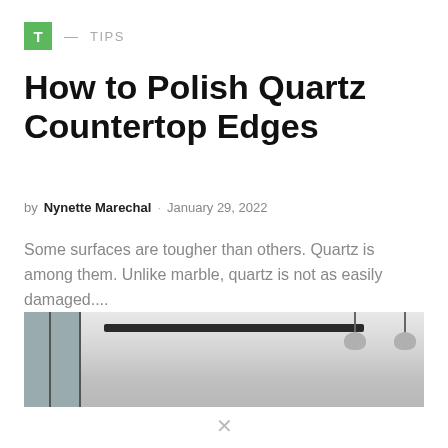T — TIPS
How to Polish Quartz Countertop Edges
by Nynette Marechal · January 29, 2022
Some surfaces are tougher than others. Quartz is among them. Unlike marble, quartz is not as easily damaged....
[Figure (photo): Interior kitchen photo showing ceiling, pendant lights, and window]